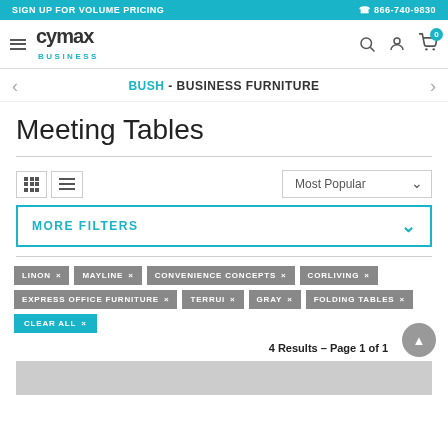SIGN UP FOR VOLUME PRICING  ☎ 866-740-9830
[Figure (logo): Cymax Business logo with hamburger menu and navigation icons]
BUSH - BUSINESS FURNITURE
Meeting Tables
MORE FILTERS
LINON ×
MAYLINE ×
CONVENIENCE CONCEPTS ×
CORLIVING ×
EXPRESS OFFICE FURNITURE ×
TERRUI ×
GRAY ×
FOLDING TABLES ×
CLEAR ALL ×
4 Results – Page 1 of 1